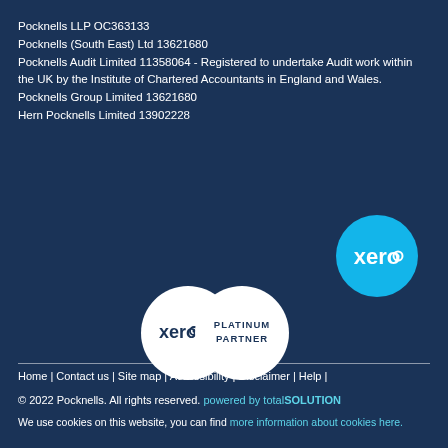Pocknells LLP OC363133
Pocknells (South East) Ltd 13621680
Pocknells Audit Limited 11358064 - Registered to undertake Audit work within the UK by the Institute of Chartered Accountants in England and Wales.
Pocknells Group Limited 13621680
Hern Pocknells Limited 13902228
[Figure (logo): Xero logo - circular cyan/turquoise badge with 'xero' text in white]
[Figure (logo): Xero Platinum Partner badge - white circle with xero logo and 'PLATINUM PARTNER' text]
Home | Contact us | Site map | Accessibility | Disclaimer | Help |
© 2022 Pocknells. All rights reserved. powered by totalSOLUTION
We use cookies on this website, you can find more information about cookies here.